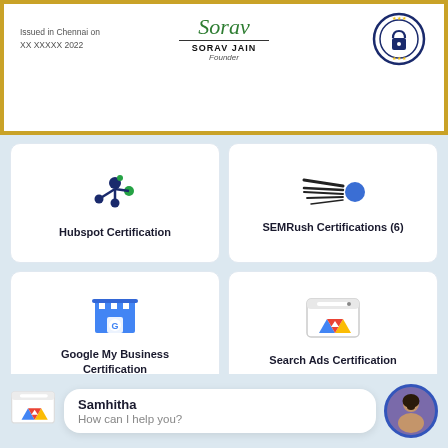[Figure (illustration): Certificate snippet showing 'Issued in Chennai on XX XXXXX 2022', a cursive signature, 'SORAV JAIN Founder' text, and a circular badge/seal on right]
[Figure (logo): HubSpot logo icon - circular nodes connected]
Hubspot Certification
[Figure (logo): SEMRush logo icon - meteor/comet shape]
SEMRush Certifications (6)
[Figure (logo): Google My Business icon - blue/white striped store with G logo]
Google My Business Certification
[Figure (logo): Google Search Ads certification icon - browser window with Google Ads triangle logo]
Search Ads Certification
Samhitha
How can I help you?